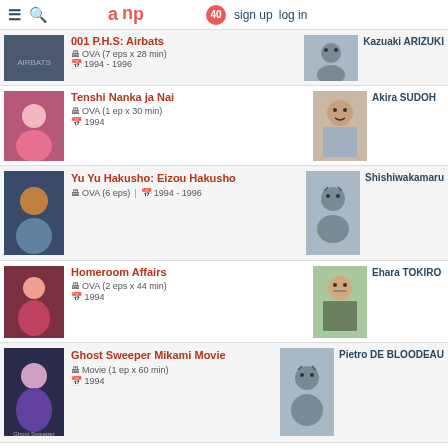☰ 🔍 acp 40 sign up log in
001 P.H.S: Airbats | OVA (7 eps x 28 min) | 1994 - 1996 | Kazuaki ARIZUKI
Tenshi Nanka ja Nai | OVA (1 ep x 30 min) | 1994 | Akira SUDOH
Yu Yu Hakusho: Eizou Hakusho | OVA (6 eps) | 1994 - 1996 | Shishiwakamaru
Homeroom Affairs | OVA (2 eps x 44 min) | 1994 | Ehara TOKIRO
Ghost Sweeper Mikami Movie | Movie (1 ep x 60 min) | 1994 | Pietro DE BLOODEAU